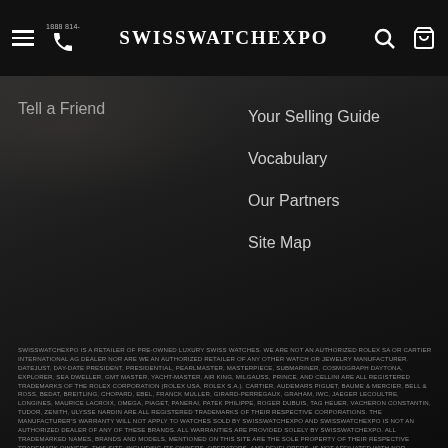SwissWatchExpo — Navigation header with hamburger menu, phone icon, logo, search and cart icons
Tell a Friend
Your Selling Guide
Vocabulary
Our Partners
Site Map
SWISSWATCHEXPO IS A RETAILER OF PRE-OWNED LUXURY SWISS WATCHES. WE ARE NOT AN AUTHORIZED ROLEX SA OR CARTIER INTERNATIONAL AG DEALER NOR ARE WE AN AUTHORIZED RETAILER OF ANY OTHER WATCH OR JEWELRY MANUFACTURER. DATEJUST, DAY-DATE PRESIDENT, PRESIDENTIAL, PEARLMASTER, MASTERPIECE, SUBMARINER, COSMOGRAPH DAYTONA, EXPLORER, SEA DWELLER, GMT MASTER, YACHT-MASTER, AIR KING, MILGAUSS, PRINCE, AND CELLINI ARE ALL REGISTERED TRADEMARKS OF THE ROLEX CORPORATION (ROLEX USA, ROLEX S.A.). CARTIER, AUDEMARS PIGUET, BAUME & MERCIER, BELL & ROSS, BEDAT, BREITLING, CHOPARD, EBEL, FRANCK MULLER, GIRARD-PERREGAUX, GRAHAM, IWC, JAEGER LECOULTRE, LONGINES, MAURICE LACROIX, OMEGA, PIAGET, PANERAI, PATEK PHILIPPE, ROGER DUBUIS, TAG HEUER, VACHERON CONSTANTIN, TUDOR, ZENITH, ULYSSE NARDIN ARE ALL REGISTERED TRADEMARKS OF THEIR RESPECTIVE CORPORATIONS. THE MANUFACTURER'S WARRANTY WILL NOT APPLY TO WATCHES SOLD BY SWISSWATCHEXPO AND SWISSWATCHEXPO IS NOT AN AUTHORIZED DEALER OF ANY OF THESE BRANDS. ALL WARRANTIES ARE PROVIDED SOLELY BY SWISSWATCHEXPO. ALL TRADEMARKED NAMES, BRANDS AND MODELS, MENTIONED ON THIS SITE ARE THE SOLE PROPERTY OF THEIR RESPECTIVE TRADEMARK OWNERS. THIS SITE, INCLUDING ITS OWNERS, OPERATORS, AND DEVELOPERS, IS NOT AFFILIATED WITH NOR ENDORSED BY ANY WATCH OR JEWELRY MANUFACTURER BRAND OR ANY SUBSIDIARIES THEREOF, IN ANY WAY.